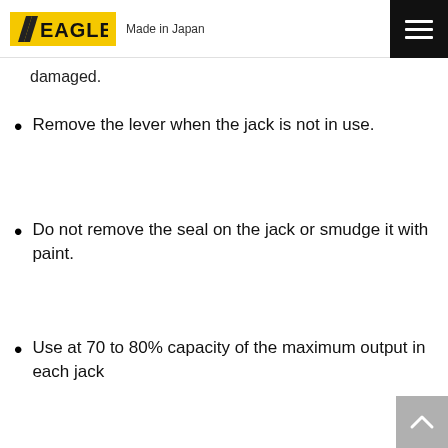EAGLE Made in Japan
damaged.
Remove the lever when the jack is not in use.
Do not remove the seal on the jack or smudge it with paint.
Use at 70 to 80% capacity of the maximum output in each jack